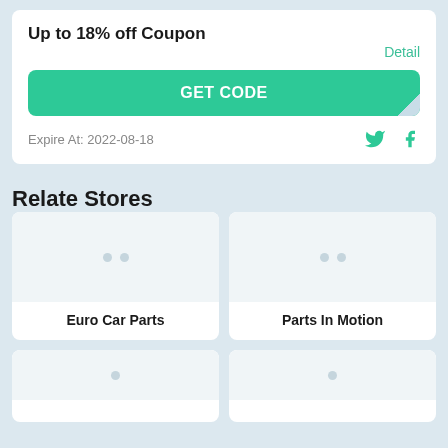Up to 18% off Coupon
Detail
GET CODE
Expire At: 2022-08-18
Relate Stores
[Figure (other): Store card for Euro Car Parts with placeholder image]
Euro Car Parts
[Figure (other): Store card for Parts In Motion with placeholder image]
Parts In Motion